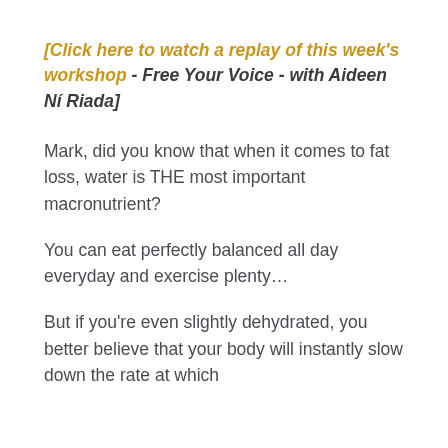[Click here to watch a replay of this week's workshop - Free Your Voice - with Aideen Ní Riada]
Mark, did you know that when it comes to fat loss, water is THE most important macronutrient?
You can eat perfectly balanced all day everyday and exercise plenty…
But if you're even slightly dehydrated, you better believe that your body will instantly slow down the rate at which